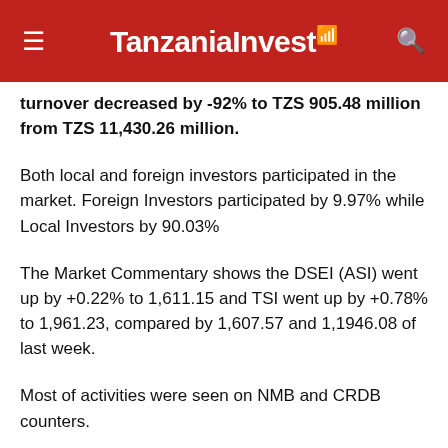TanzaniaInvest
turnover decreased by -92% to TZS 905.48 million from TZS 11,430.26 million.
Both local and foreign investors participated in the market. Foreign Investors participated by 9.97% while Local Investors by 90.03%
The Market Commentary shows the DSEI (ASI) went up by +0.22% to 1,611.15 and TSI went up by +0.78% to 1,961.23, compared by 1,607.57 and 1,1946.08 of last week.
Most of activities were seen on NMB and CRDB counters.